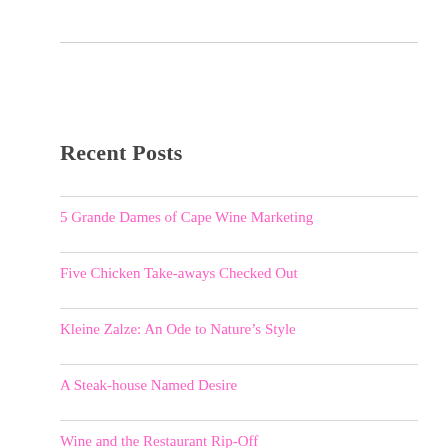Recent Posts
5 Grande Dames of Cape Wine Marketing
Five Chicken Take-aways Checked Out
Kleine Zalze: An Ode to Nature’s Style
A Steak-house Named Desire
Wine and the Restaurant Rip-Off
Meta